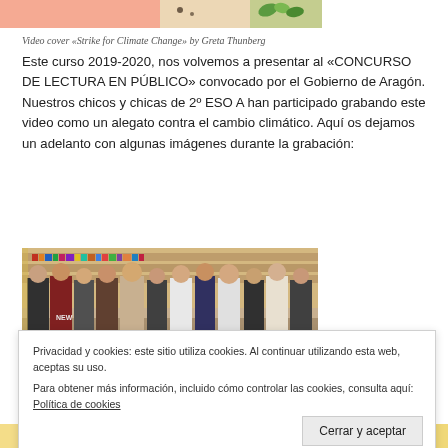[Figure (illustration): Top banner image with pinkish/salmon background and plant/leaf decorative elements, partially visible]
Video cover «Strike for Climate Change» by Greta Thunberg
Este curso 2019-2020, nos volvemos a presentar al «CONCURSO DE LECTURA EN PÚBLICO» convocado por el Gobierno de Aragón. Nuestros chicos y chicas de 2º ESO A han participado grabando este video como un alegato contra el cambio climático. Aquí os dejamos un adelanto con algunas imágenes durante la grabación:
[Figure (photo): Group photo of teenage students standing together in what appears to be a library or classroom setting]
Privacidad y cookies: este sitio utiliza cookies. Al continuar utilizando esta web, aceptas su uso.
Para obtener más información, incluido cómo controlar las cookies, consulta aquí: Política de cookies
[Figure (illustration): Bottom strip with warm yellow/orange tones, partially visible]